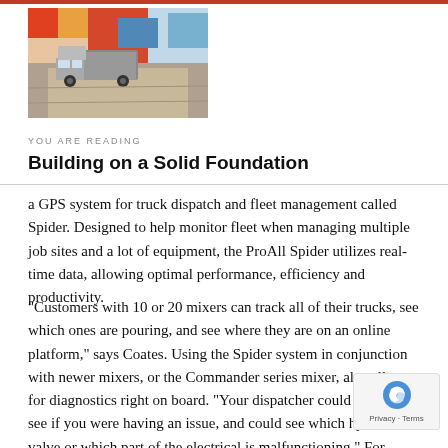[Figure (photo): A truck or mixer vehicle on a dirt/construction road, with colorful abstract or painted imagery visible.]
YOU ARE READING
Building on a Solid Foundation
a GPS system for truck dispatch and fleet management called Spider. Designed to help monitor fleet when managing multiple job sites and a lot of equipment, the ProAll Spider utilizes real-time data, allowing optimal performance, efficiency and productivity.
"Customers with 10 or 20 mixers can track all of their trucks, see which ones are pouring, and see where they are on an online platform," says Coates. Using the Spider system in conjunction with newer mixers, or the Commander series mixer, also allows for diagnostics right on board. "Your dispatcher could essentially see if you were having an issue, and could see which hydraulic valve or which part of the electrical is malfunctioning." For bigger co operating multiple mixers, the team is able to manage issue one spot as opposed to having 20 drivers all trying to troubleshoot